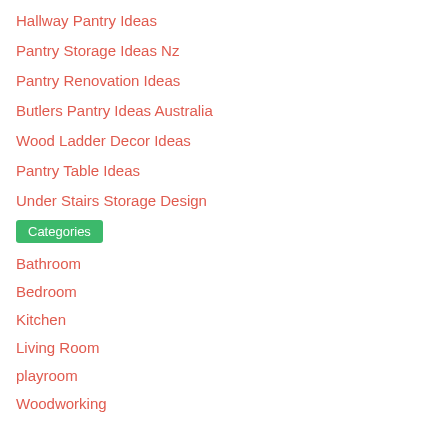Hallway Pantry Ideas
Pantry Storage Ideas Nz
Pantry Renovation Ideas
Butlers Pantry Ideas Australia
Wood Ladder Decor Ideas
Pantry Table Ideas
Under Stairs Storage Design
Categories
Bathroom
Bedroom
Kitchen
Living Room
playroom
Woodworking